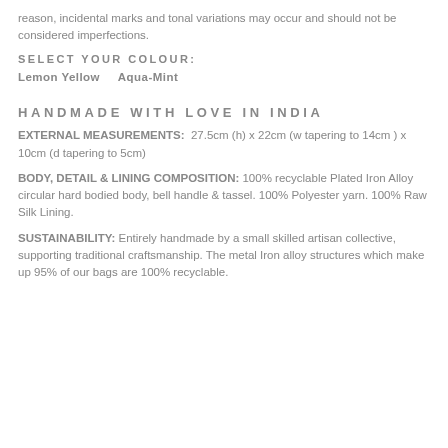reason, incidental marks and tonal variations may occur and should not be considered imperfections.
SELECT YOUR COLOUR:
Lemon Yellow    Aqua-Mint
HANDMADE WITH LOVE IN INDIA
EXTERNAL MEASUREMENTS:  27.5cm (h) x 22cm (w tapering to 14cm ) x 10cm (d tapering to 5cm)
BODY, DETAIL & LINING COMPOSITION: 100% recyclable Plated Iron Alloy circular hard bodied body, bell handle & tassel. 100% Polyester yarn. 100% Raw Silk Lining.
SUSTAINABILITY: Entirely handmade by a small skilled artisan collective, supporting traditional craftsmanship. The metal Iron alloy structures which make up 95% of our bags are 100% recyclable.